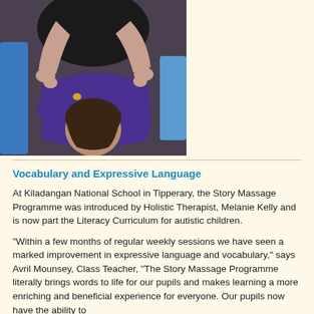[Figure (photo): A child in a purple school jumper lying back while an adult in black clothing interacts with them, appearing to demonstrate a massage or movement activity. Blue chairs visible in the background.]
Vocabulary and Expressive Language
At Kiladangan National School in Tipperary, the Story Massage Programme was introduced by Holistic Therapist, Melanie Kelly and is now part the Literacy Curriculum for autistic children.
“Within a few months of regular weekly sessions we have seen a marked improvement in expressive language and vocabulary,” says Avril Mounsey, Class Teacher, “The Story Massage Programme literally brings words to life for our pupils and makes learning a more enriching and beneficial experience for everyone. Our pupils now have the ability to